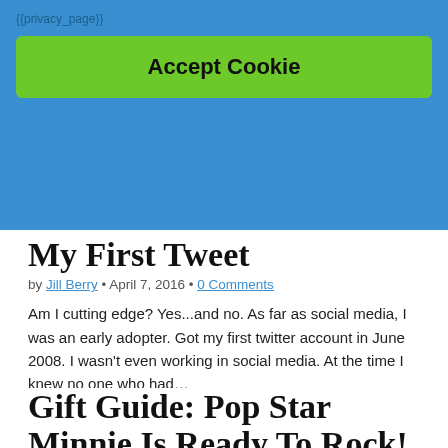{{privacy_page}}
Accept Cookie
My First Tweet
by Jill Berry • April 7, 2016 • 0 Comments
Am I cutting edge? Yes...and no. As far as social media, I was an early adopter. Got my first twitter account in June 2008. I wasn't even working in social media. At the time I knew no one who had…
Read more →
Gift Guide: Pop Star Minnie Is Ready To Rock!